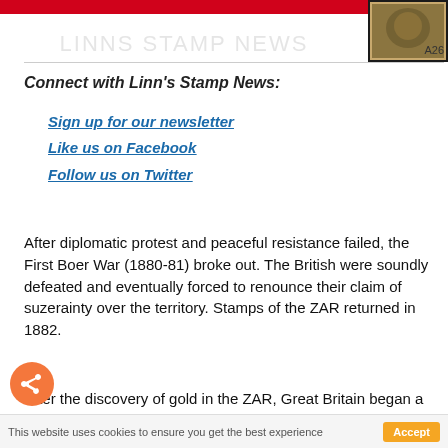A26
Connect with Linn's Stamp News:
Sign up for our newsletter
Like us on Facebook
Follow us on Twitter
After diplomatic protest and peaceful resistance failed, the First Boer War (1880-81) broke out. The British were soundly defeated and eventually forced to renounce their claim of suzerainty over the territory. Stamps of the ZAR returned in 1882.
After the discovery of gold in the ZAR, Great Britain began a military build up and launched the Second Boer War. In addition to British troops, colonial troops from British South Africa, Australia, New Zealand, and Canada helped to defeat the Boers in a bitter, bloody, and costly
This website uses cookies to ensure you get the best experience